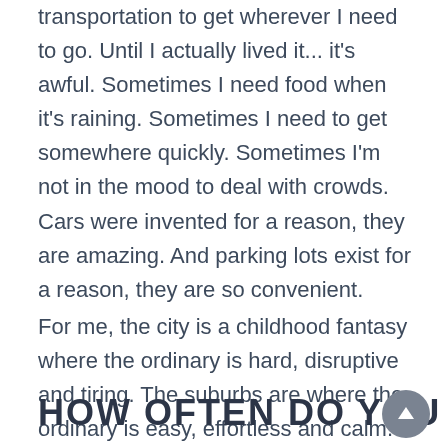transportation to get wherever I need to go. Until I actually lived it... it's awful. Sometimes I need food when it's raining. Sometimes I need to get somewhere quickly. Sometimes I'm not in the mood to deal with crowds. Cars were invented for a reason, they are amazing. And parking lots exist for a reason, they are so convenient.
For me, the city is a childhood fantasy where the ordinary is hard, disruptive and tiring. The suburbs are where the ordinary is easy, effortless and calm.
HOW OFTEN DO YOU